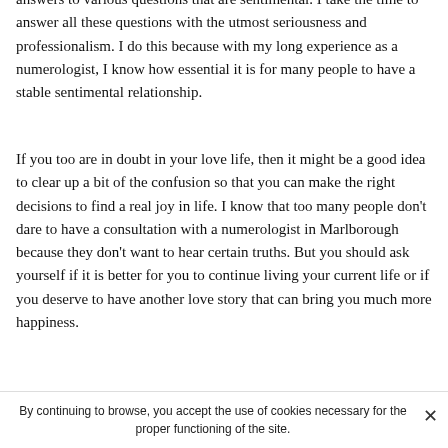answers to various questions that are sentimental. I take the time to answer all these questions with the utmost seriousness and professionalism. I do this because with my long experience as a numerologist, I know how essential it is for many people to have a stable sentimental relationship.
If you too are in doubt in your love life, then it might be a good idea to clear up a bit of the confusion so that you can make the right decisions to find a real joy in life. I know that too many people don't dare to have a consultation with a numerologist in Marlborough because they don't want to hear certain truths. But you should ask yourself if it is better for you to continue living your current life or if you deserve to have another love story that can bring you much more happiness.
Whether you have been looking for true love for a long
By continuing to browse, you accept the use of cookies necessary for the proper functioning of the site.